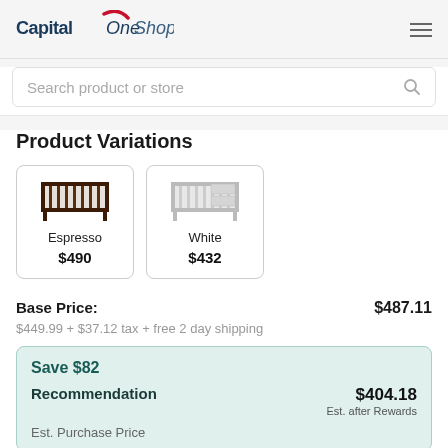[Figure (logo): Capital One Shopping logo with red swoosh and italic 'One Shopping' text]
Search product or store
Product Variations
[Figure (illustration): Espresso colored crib product thumbnail, price $490]
[Figure (illustration): White colored crib product thumbnail, price $432]
Base Price: $487.11
$449.99 + $37.12 tax + free 2 day shipping
Save $82
Recommendation $404.18 Est. after Rewards